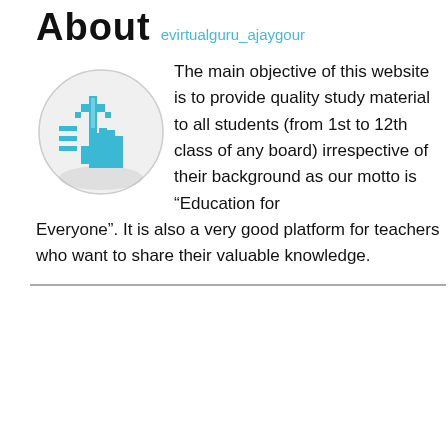About evirtualguru_ajaygour
[Figure (logo): Circular logo with a blue pixelated hand/cursor pointer icon on a white background with a gray shadow]
The main objective of this website is to provide quality study material to all students (from 1st to 12th class of any board) irrespective of their background as our motto is “Education for Everyone”. It is also a very good platform for teachers who want to share their valuable knowledge.